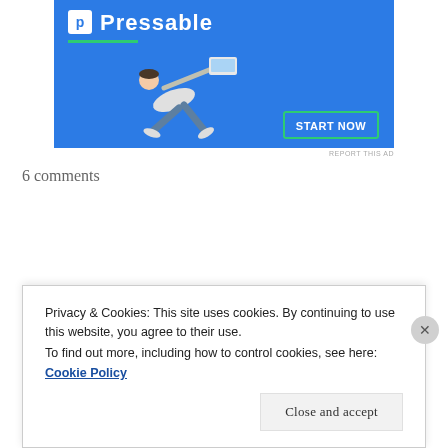[Figure (other): Pressable advertisement banner with blue background, logo, green underline, person flying with laptop, and START NOW button]
REPORT THIS AD
6 comments
Privacy & Cookies: This site uses cookies. By continuing to use this website, you agree to their use.
To find out more, including how to control cookies, see here: Cookie Policy
Close and accept